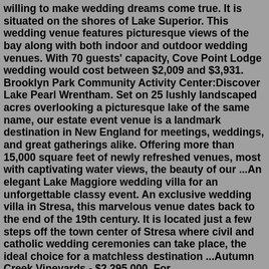willing to make wedding dreams come true. It is situated on the shores of Lake Superior. This wedding venue features picturesque views of the bay along with both indoor and outdoor wedding venues. With 70 guests' capacity, Cove Point Lodge wedding would cost between $2,009 and $3,931. Brooklyn Park Community Activity Center:Discover Lake Pearl Wrentham. Set on 25 lushly landscaped acres overlooking a picturesque lake of the same name, our estate event venue is a landmark destination in New England for meetings, weddings, and great gatherings alike. Offering more than 15,000 square feet of newly refreshed venues, most with captivating water views, the beauty of our ...An elegant Lake Maggiore wedding villa for an unforgettable classy event. An exclusive wedding villa in Stresa, this marvelous venue dates back to the end of the 19th century. It is located just a few steps off the town center of Stresa where civil and catholic wedding ceremonies can take place, the ideal choice for a matchless destination ...Autumn Creek Vineyards - $2,295,000. For